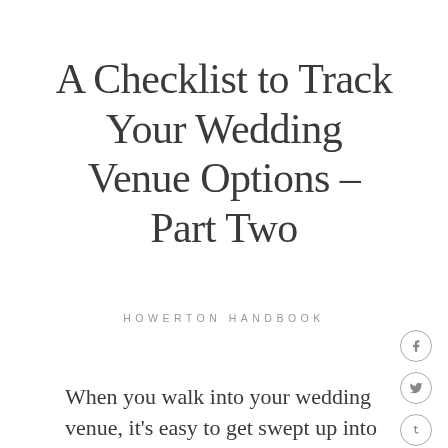A Checklist to Track Your Wedding Venue Options – Part Two
HOWERTON HANDBOOK
When you walk into your wedding venue, it's easy to get swept up into